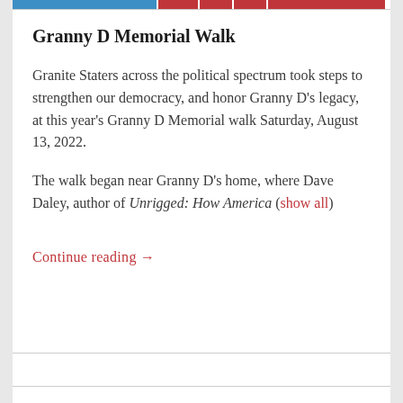Granny D Memorial Walk
Granite Staters across the political spectrum took steps to strengthen our democracy, and honor Granny D's legacy, at this year's Granny D Memorial walk Saturday, August 13, 2022.
The walk began near Granny D's home, where Dave Daley, author of Unrigged: How America (show all)
Continue reading →